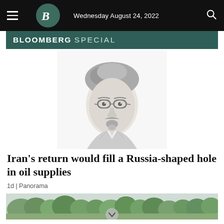Wednesday August 24, 2022
BLOOMBERG SPECIAL
[Figure (illustration): Pencil sketch portrait of a man with curly hair, round glasses, and a goatee, wearing a suit jacket]
Iran’s return would fill a Russia-shaped hole in oil supplies
1d | Panorama
[Figure (photo): Landscape photo strip showing trees and greenery with a chevron/down arrow button overlay]